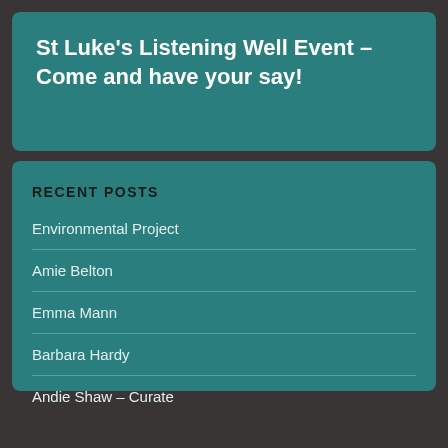St Luke's Listening Well Event – Come and have your say!
RECENT POSTS
Environmental Project
Amie Belton
Emma Mann
Barbara Hardy
Andie Shaw – Curate